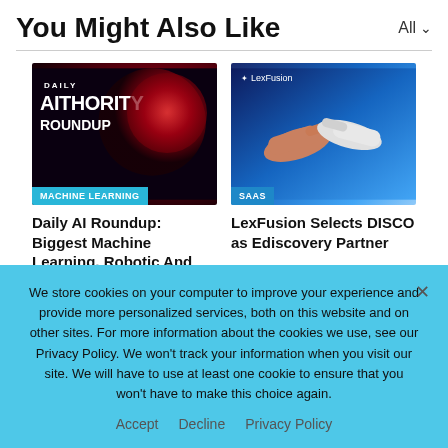You Might Also Like
[Figure (screenshot): Thumbnail image for 'Daily AI Roundup' article with dark red background, globe, text 'DAILY AITHORITY ROUNDUP' and blue 'MACHINE LEARNING' badge]
MACHINE LEARNING
Daily AI Roundup: Biggest Machine Learning, Robotic And Automation Updates 37…
[Figure (screenshot): Thumbnail image for LexFusion article with blue gradient background showing two pointing hands, LexFusion logo, and 'SAAS' badge]
SAAS
LexFusion Selects DISCO as Ediscovery Partner
We store cookies on your computer to improve your experience and provide more personalized services, both on this website and on other sites. For more information about the cookies we use, see our Privacy Policy. We won't track your information when you visit our site. We will have to use at least one cookie to ensure that you won't have to make this choice again.
Accept   Decline   Privacy Policy